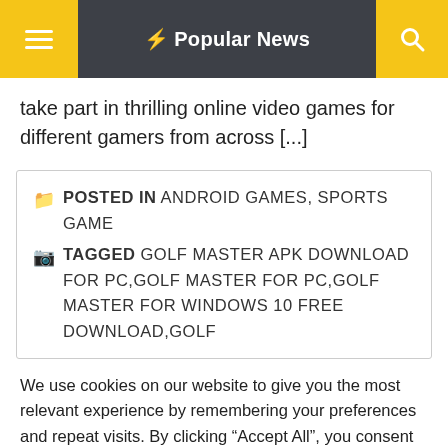Popular News
take part in thrilling online video games for different gamers from across [...]
POSTED IN ANDROID GAMES, SPORTS GAME
TAGGED GOLF MASTER APK DOWNLOAD FOR PC,GOLF MASTER FOR PC,GOLF MASTER FOR WINDOWS 10 FREE DOWNLOAD,GOLF
We use cookies on our website to give you the most relevant experience by remembering your preferences and repeat visits. By clicking “Accept All”, you consent to the use of ALL the cookies. However, you may visit "Cookie Settings" to provide a controlled consent.
Cookie Settings | Accept All